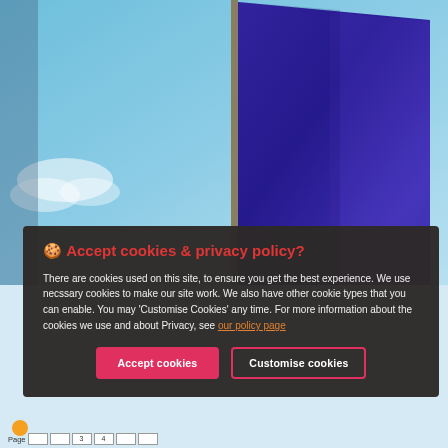[Figure (photo): A blue/purple flag (EU-style) against a blue sky with white clouds, shot from below at an angle]
🍪 Accept cookies & privacy policy?

There are cookies used on this site, to ensure you get the best experience. We use necssary cookies to make our site work. We also have other cookie types that you can enable. You may 'Customise Cookies' any time. For more information about the cookies we use and about Privacy, see our policy page

[Accept cookies] [Customise cookies]
Page  [  ] [  ] [3] [4] [  ] [  ]